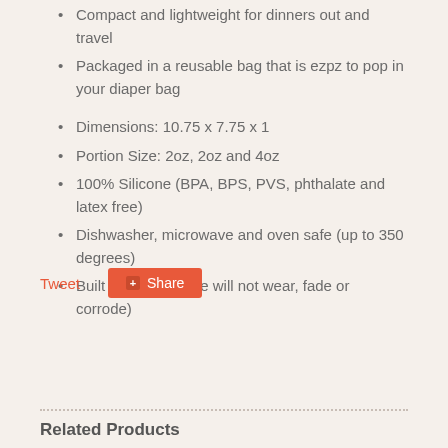Compact and lightweight for dinners out and travel
Packaged in a reusable bag that is ezpz to pop in your diaper bag
Dimensions: 10.75 x 7.75 x 1
Portion Size: 2oz, 2oz and 4oz
100% Silicone (BPA, BPS, PVS, phthalate and latex free)
Dishwasher, microwave and oven safe (up to 350 degrees)
Built to last (silicone will not wear, fade or corrode)
Tweet  Share
Related Products